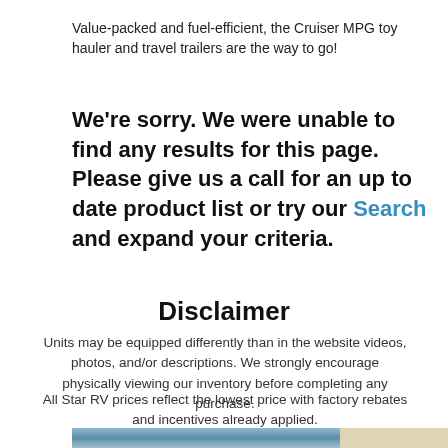Value-packed and fuel-efficient, the Cruiser MPG toy hauler and travel trailers are the way to go!
We're sorry. We were unable to find any results for this page. Please give us a call for an up to date product list or try our Search and expand your criteria.
Disclaimer
Units may be equipped differently than in the website videos, photos, and/or descriptions. We strongly encourage physically viewing our inventory before completing any purchase.
All Star RV prices reflect the lowest price with factory rebates and incentives already applied.
[Figure (photo): Partial view of an RV/travel trailer on a road with hills in the background, split into two image sections]